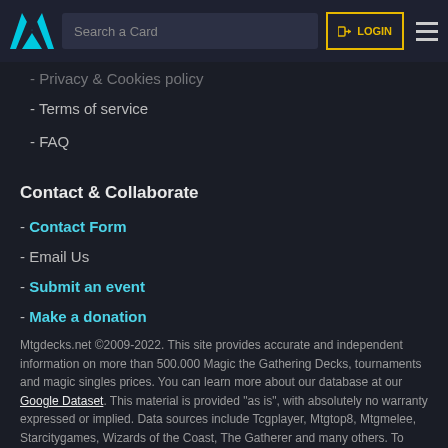Search a Card | LOGIN
- Privacy & Cookies policy
- Terms of service
- FAQ
Contact & Collaborate
- Contact Form
- Email Us
- Submit an event
- Make a donation
Mtgdecks.net ©2009-2022. This site provides accurate and independent information on more than 500.000 Magic the Gathering Decks, tournaments and magic singles prices. You can learn more about our database at our Google Dataset. This material is provided “as is”, with absolutely no warranty expressed or implied. Data sources include Tcgplayer, Mtgtop8, Mtgmelee, Starcitygames, Wizards of the Coast, The Gatherer and many others. To view content sources and attributions, please refer to each tournament info.